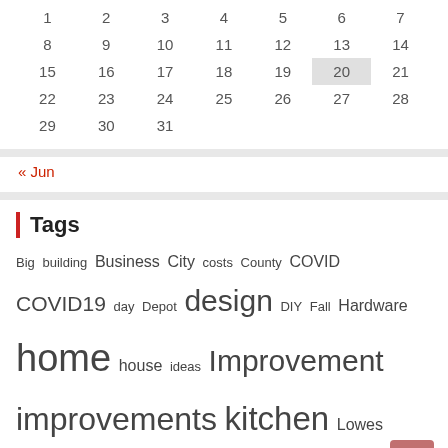| 1 | 2 | 3 | 4 | 5 | 6 | 7 |
| --- | --- | --- | --- | --- | --- | --- |
| 8 | 9 | 10 | 11 | 12 | 13 | 14 |
| 15 | 16 | 17 | 18 | 19 | 20 | 21 |
| 22 | 23 | 24 | 25 | 26 | 27 | 28 |
| 29 | 30 | 31 |  |  |  |  |
« Jun
Tags
Big building Business City costs County COVID COVID19 day Depot design DIY Fall Hardware home house ideas Improvement improvements kitchen Lowes Market million mortgage News Pandemic park program project projects Remodel